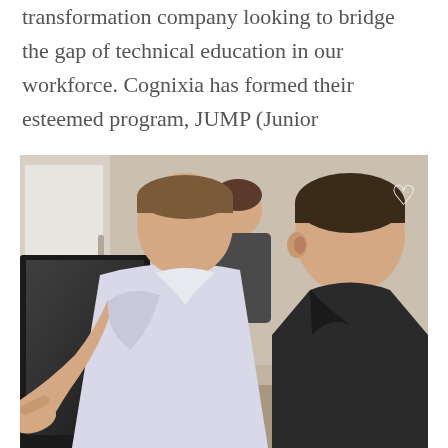Cognixia is a digital training and transformation company looking to bridge the gap of technical education in our workforce. Cognixia has formed their esteemed program, JUMP (Junior
[Figure (photo): Two men looking at a computer screen together, one pointing at the screen, another person visible in the background, office/classroom setting. Heart icon in top right corner.]
SMU Boot Camps
As a nationally ranked private university in the heart of Dallas, SMU's curriculum